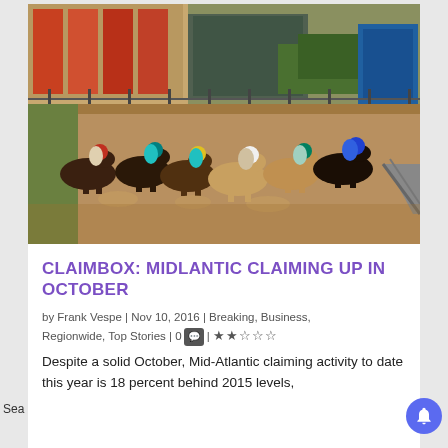[Figure (photo): Horse racing photo showing multiple jockeys on horses racing on a dirt track, with industrial buildings and a fence in the background.]
CLAIMBOX: MIDLANTIC CLAIMING UP IN OCTOBER
by Frank Vespe | Nov 10, 2016 | Breaking, Business, Regionwide, Top Stories | 0 | ★★★★★
Despite a solid October, Mid-Atlantic claiming activity to date this year is 18 percent behind 2015 levels,